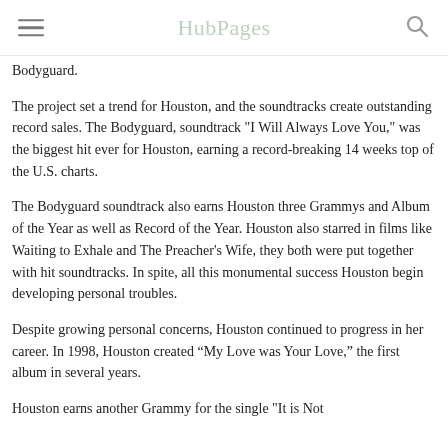HubPages
Bodyguard.
The project set a trend for Houston, and the soundtracks create outstanding record sales. The Bodyguard, soundtrack "I Will Always Love You," was the biggest hit ever for Houston, earning a record-breaking 14 weeks top of the U.S. charts.
The Bodyguard soundtrack also earns Houston three Grammys and Album of the Year as well as Record of the Year. Houston also starred in films like Waiting to Exhale and The Preacher's Wife, they both were put together with hit soundtracks. In spite, all this monumental success Houston begin developing personal troubles.
Despite growing personal concerns, Houston continued to progress in her career. In 1998, Houston created “My Love was Your Love,” the first album in several years.
Houston earns another Grammy for the single "It is Not